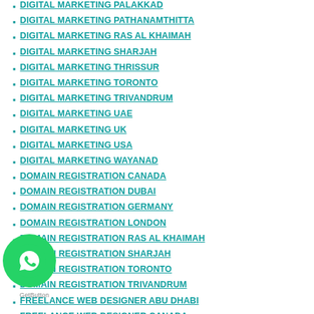DIGITAL MARKETING PALAKKAD
DIGITAL MARKETING PATHANAMTHITTA
DIGITAL MARKETING RAS AL KHAIMAH
DIGITAL MARKETING SHARJAH
DIGITAL MARKETING THRISSUR
DIGITAL MARKETING TORONTO
DIGITAL MARKETING TRIVANDRUM
DIGITAL MARKETING UAE
DIGITAL MARKETING UK
DIGITAL MARKETING USA
DIGITAL MARKETING WAYANAD
DOMAIN REGISTRATION CANADA
DOMAIN REGISTRATION DUBAI
DOMAIN REGISTRATION GERMANY
DOMAIN REGISTRATION LONDON
DOMAIN REGISTRATION RAS AL KHAIMAH
DOMAIN REGISTRATION SHARJAH
DOMAIN REGISTRATION TORONTO
DOMAIN REGISTRATION TRIVANDRUM
FREELANCE WEB DESIGNER ABU DHABI
FREELANCE WEB DESIGNER CANADA